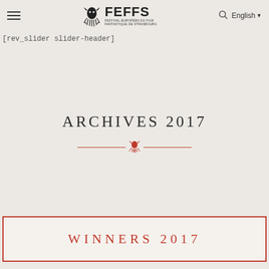FEFFS — Festival Européen du Film Fantastique de Strasbourg | English
[rev_slider slider-header]
ARCHIVES 2017
[Figure (illustration): Decorative horizontal divider with red squid/octopus icon in the center flanked by two horizontal red lines]
WINNERS 2017